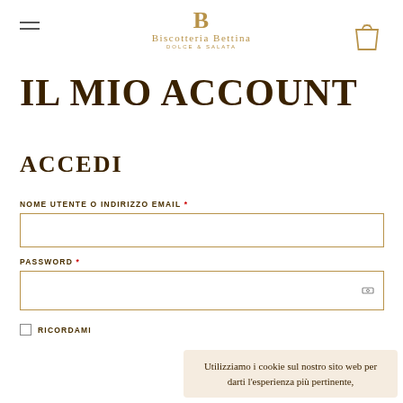Biscotteria Bettina — DOLCE & SALATA
IL MIO ACCOUNT
ACCEDI
NOME UTENTE O INDIRIZZO EMAIL *
PASSWORD *
RICORDAMI
Utilizziamo i cookie sul nostro sito web per darti l'esperienza più pertinente,